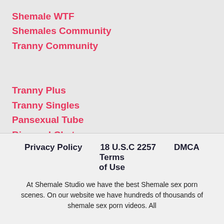Shemale WTF
Shemales Community
Tranny Community
Tranny Plus
Tranny Singles
Pansexual Tube
Bisexual Chat
Strapon Sex
Privacy Policy   18 U.S.C 2257   DMCA   Terms of Use
At Shemale Studio we have the best Shemale sex porn scenes. On our website we have hundreds of thousands of shemale sex porn videos. All